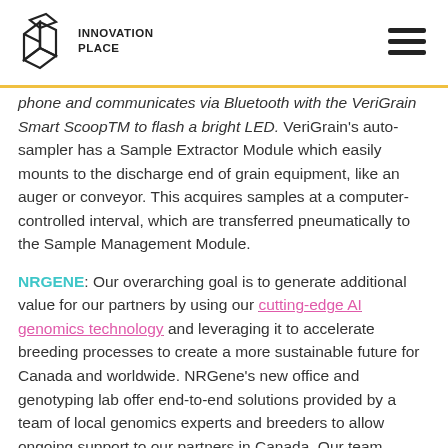INNOVATION PLACE
phone and communicates via Bluetooth with the VeriGrain Smart ScoopTM to flash a bright LED. VeriGrain's auto-sampler has a Sample Extractor Module which easily mounts to the discharge end of grain equipment, like an auger or conveyor. This acquires samples at a computer-controlled interval, which are transferred pneumatically to the Sample Management Module.
NRGENE: Our overarching goal is to generate additional value for our partners by using our cutting-edge AI genomics technology and leveraging it to accelerate breeding processes to create a more sustainable future for Canada and worldwide. NRGene's new office and genotyping lab offer end-to-end solutions provided by a team of local genomics experts and breeders to allow ongoing support to our partners in Canada. Our team, which continues to